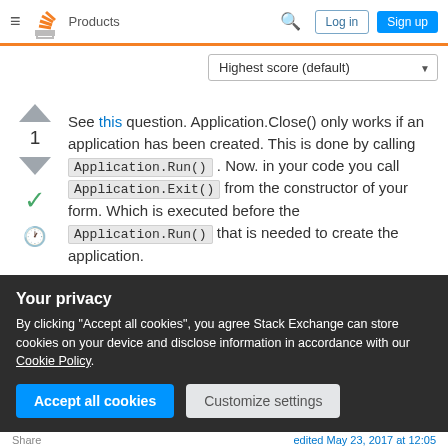≡  [logo] Products  🔍  Log in  Sign up
Highest score (default)
See this question. Application.Close() only works if an application has been created. This is done by calling Application.Run() . Now. in your code you call Application.Exit() from the constructor of your form. Which is executed before the Application.Run() that is needed to create the application.
To fix this, either wait until after
Your privacy
By clicking "Accept all cookies", you agree Stack Exchange can store cookies on your device and disclose information in accordance with our Cookie Policy.
Accept all cookies  Customize settings
Share    edited May 23, 2017 at 12:05